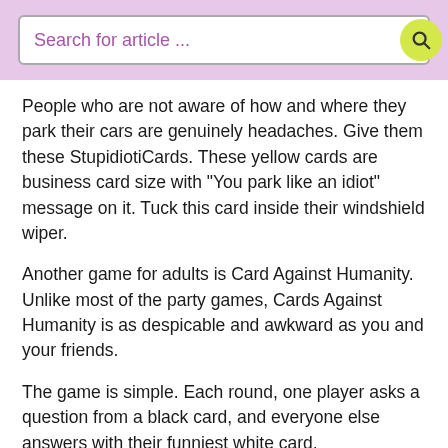Search for article ...
People who are not aware of how and where they park their cars are genuinely headaches. Give them these StupidiotiCards. These yellow cards are business card size with “You park like an idiot” message on it. Tuck this card inside their windshield wiper.
Another game for adults is Card Against Humanity. Unlike most of the party games, Cards Against Humanity is as despicable and awkward as you and your friends.
The game is simple. Each round, one player asks a question from a black card, and everyone else answers with their funniest white card.